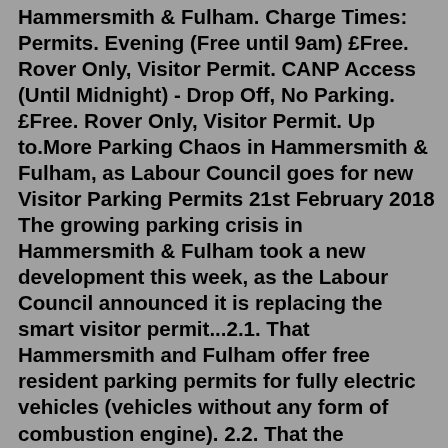Hammersmith & Fulham. Charge Times: Permits. Evening (Free until 9am) £Free. Rover Only, Visitor Permit. CANP Access (Until Midnight) - Drop Off, No Parking. £Free. Rover Only, Visitor Permit. Up to.More Parking Chaos in Hammersmith & Fulham, as Labour Council goes for new Visitor Parking Permits 21st February 2018 The growing parking crisis in Hammersmith & Fulham took a new development this week, as the Labour Council announced it is replacing the smart visitor permit...2.1. That Hammersmith and Fulham offer free resident parking permits for fully electric vehicles (vehicles without any form of combustion engine). 2.2. That the introduction of a sliding scale of permits based on the Euro emission standard of the vehicle for all resident permits, be agreed. This is detailed in Option 3 of section 5.Download the form below. Read and fill in the form. To lodge an application in person at a customer service centre make a 20-minute appointment. Book your